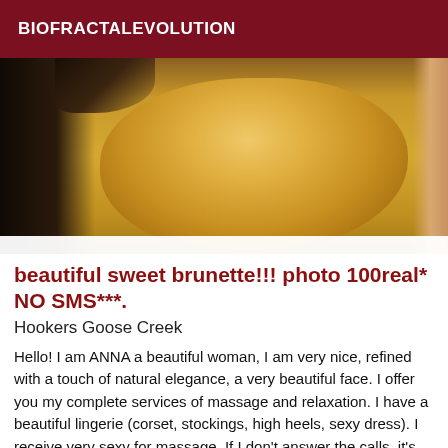BIOFRACTALEVOLUTION
[Figure (photo): Photo of a woman in a yellow/orange dress, mid-section view, dark background on left side]
beautiful sweet brunette!!! photo 100real* NO SMS***.
Hookers Goose Creek
Hello! I am ANNA a beautiful woman, I am very nice, refined with a touch of natural elegance, a very beautiful face. I offer you my complete services of massage and relaxation. I have a beautiful lingerie (corset, stockings, high heels, sexy dress). I receive very sexy for massage. If I don't answer the calls, it's because I'm busy, leave a message, that I answer you. NO SMS PLEASE